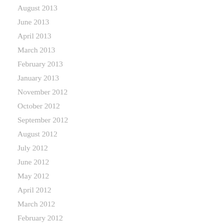August 2013
June 2013
April 2013
March 2013
February 2013
January 2013
November 2012
October 2012
September 2012
August 2012
July 2012
June 2012
May 2012
April 2012
March 2012
February 2012
January 2012